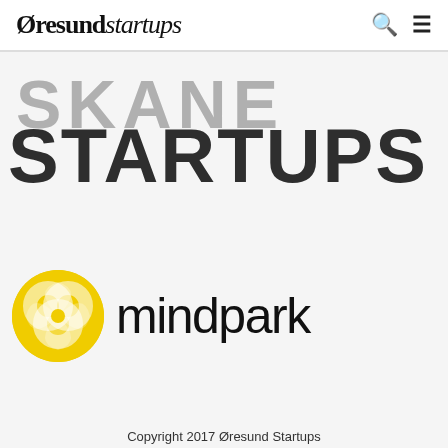Øresund startups
[Figure (logo): SKANE STARTUPS large text logo with SKANE in light gray and STARTUPS in dark charcoal, overlapping bold sans-serif text]
[Figure (logo): Mindpark logo: yellow circular pinwheel icon on left, 'mindpark' wordmark in dark sans-serif on right]
Copyright 2017 Øresund Startups